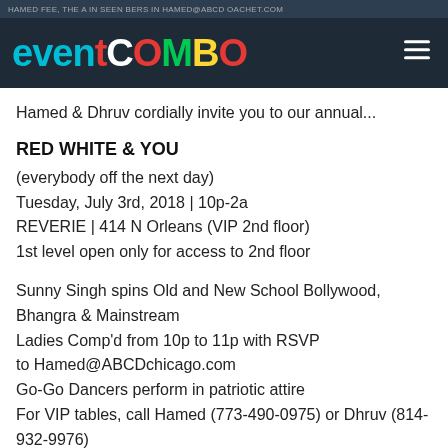EVENTCOMBO
Hamed & Dhruv cordially invite you to our annual...
RED WHITE & YOU
(everybody off the next day)
Tuesday, July 3rd, 2018 | 10p-2a
REVERIE | 414 N Orleans (VIP 2nd floor)
1st level open only for access to 2nd floor
Sunny Singh spins Old and New School Bollywood, Bhangra & Mainstream
Ladies Comp'd from 10p to 11p with RSVP to Hamed@ABCDchicago.com
Go-Go Dancers perform in patriotic attire
For VIP tables, call Hamed (773-490-0975) or Dhruv (814-932-9976)